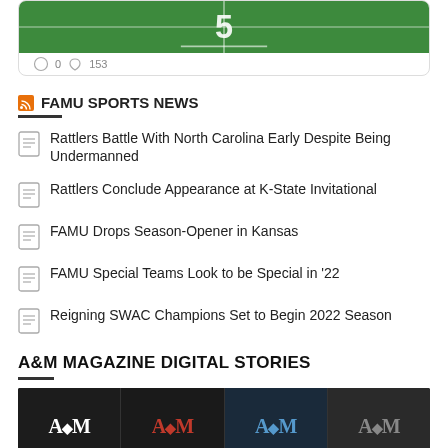[Figure (photo): Football field turf with yard line marking, bottom portion of a card with reaction icons showing 0 and 153]
FAMU SPORTS NEWS
Rattlers Battle With North Carolina Early Despite Being Undermanned
Rattlers Conclude Appearance at K-State Invitational
FAMU Drops Season-Opener in Kansas
FAMU Special Teams Look to be Special in '22
Reigning SWAC Champions Set to Begin 2022 Season
A&M MAGAZINE DIGITAL STORIES
[Figure (photo): A&M Magazine digital stories strip showing four magazine cover thumbnails with A&M logo on dark backgrounds]